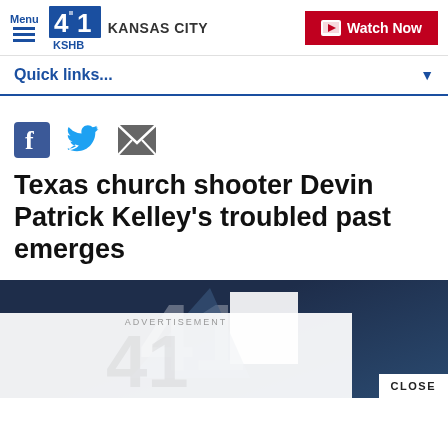Menu | 41 KSHB KANSAS CITY | Watch Now
Quick links...
[Figure (screenshot): Social sharing icons: Facebook, Twitter, Email]
Texas church shooter Devin Patrick Kelley's troubled past emerges
[Figure (screenshot): Video player thumbnail with KSHB 41 logo watermark on dark blue background, with CLOSE button and ADVERTISEMENT overlay]